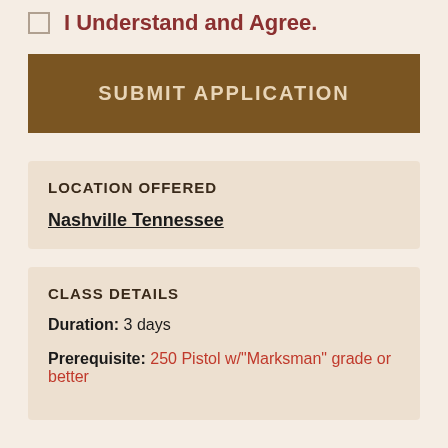I Understand and Agree.
SUBMIT APPLICATION
LOCATION OFFERED
Nashville Tennessee
CLASS DETAILS
Duration: 3 days
Prerequisite: 250 Pistol w/"Marksman" grade or better